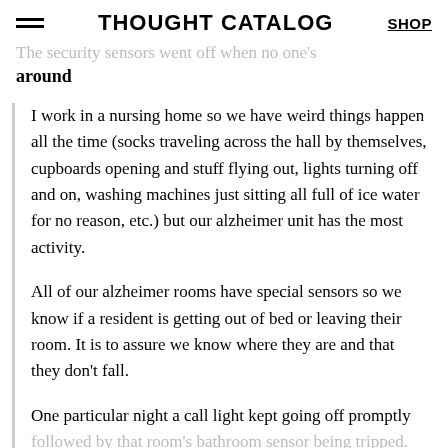THOUGHT CATALOG | SHOP
The security sensors went off when no one's around
I work in a nursing home so we have weird things happen all the time (socks traveling across the hall by themselves, cupboards opening and stuff flying out, lights turning off and on, washing machines just sitting all full of ice water for no reason, etc.) but our alzheimer unit has the most activity.
All of our alzheimer rooms have special sensors so we know if a resident is getting out of bed or leaving their room. It is to assure we know where they are and that they don't fall.
One particular night a call light kept going off promptly followed by that room's bathroom sensor being tripped. This room's resident had passed away three days before and we didn't have anyone else in there yet. We turned it